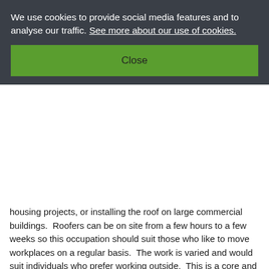We use cookies to provide social media features and to analyse our traffic. See more about our use of cookies.
Close
housing projects, or installing the roof on large commercial buildings. Roofers can be on site from a few hours to a few weeks so this occupation should suit those who like to move workplaces on a regular basis. The work is varied and would suit individuals who prefer working outside. This is a core and options apprenticeship, with three options:
Option 1: A Roof Slater and Tiler works on a building site, or in domestic or commercial premises, installing slate and tile roof coverings and related products to both new and existing buildings.
Option 2: A Waterproof Membranes Installer works on a building site, or in domestic or commercial premises, installing waterproofing systems and related products, to